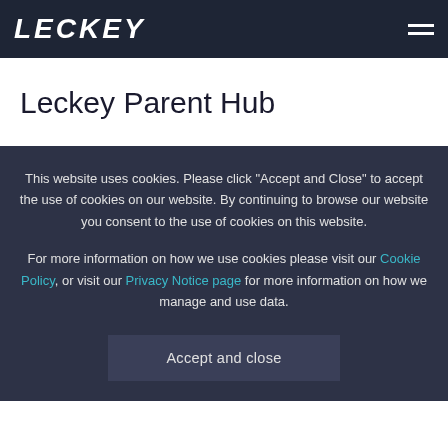LECKEY
Leckey Parent Hub
This website uses cookies. Please click "Accept and Close" to accept the use of cookies on our website. By continuing to browse our website you consent to the use of cookies on this website.
For more information on how we use cookies please visit our Cookie Policy, or visit our Privacy Notice page for more information on how we manage and use data.
Accept and close